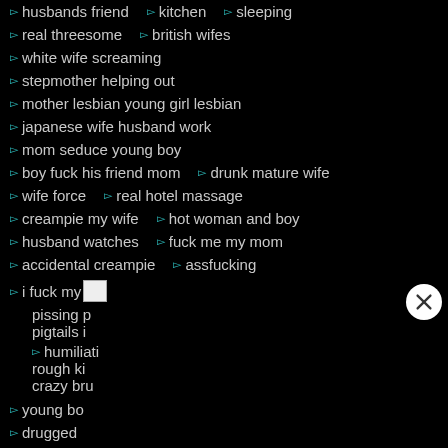husbands friend   ▻  kitchen   ▻  sleeping
real threesome   ▻  british wifes
white wife screaming
stepmother helping out
mother lesbian young girl lesbian
japanese wife husband work
mom seduce young boy
boy fuck his friend mom   ▻  drunk mature wife
wife force   ▻  real hotel massage
creampie my wife   ▻  hot woman and boy
husband watches   ▻  fuck me my mom
accidental creampie   ▻  assfucking
i fuck my [image]
pissing p
pigtails i
humiliati
rough ki
crazy bru
young bo
drugged
husband